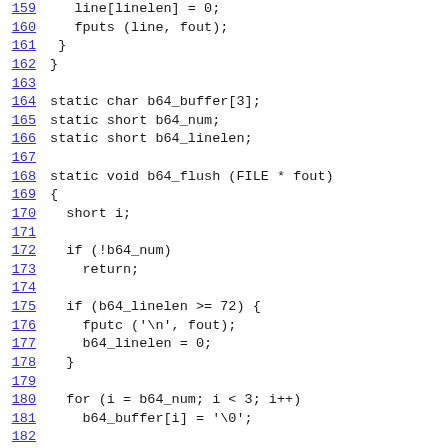Source code listing lines 159-184
159    line[linelen] = 0;
160    fputs (line, fout);
161  }
162 }
163
164 static char b64_buffer[3];
165 static short b64_num;
166 static short b64_linelen;
167
168 static void b64_flush (FILE * fout)
169 {
170   short i;
171
172   if (!b64_num)
173     return;
174
175   if (b64_linelen >= 72) {
176     fputc ('\n', fout);
177     b64_linelen = 0;
178   }
179
180   for (i = b64_num; i < 3; i++)
181     b64_buffer[i] = '\0';
182
183   fputc(__m_b64chars[(b64_buffer[0] >> 2) & 0x3f], fout);
184   b64_linelen++;